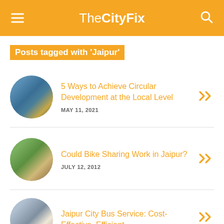TheCityFix
Posts tagged with 'Jaipur'
5 Ways to Achieve Circular Development at the Local Level
MAY 11, 2021
Could Bike Sharing Work in Jaipur?
JULY 12, 2012
Jaipur City Bus Service: Cost-Effective, Efficient,